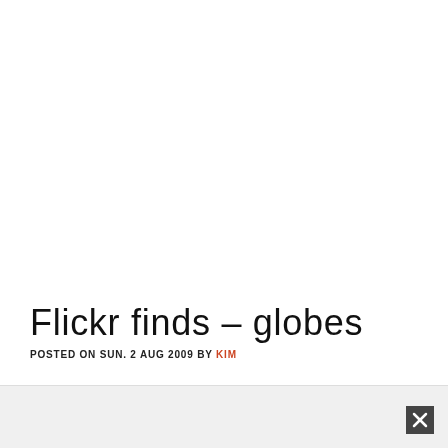Flickr finds – globes
POSTED ON SUN. 2 AUG 2009 BY KIM